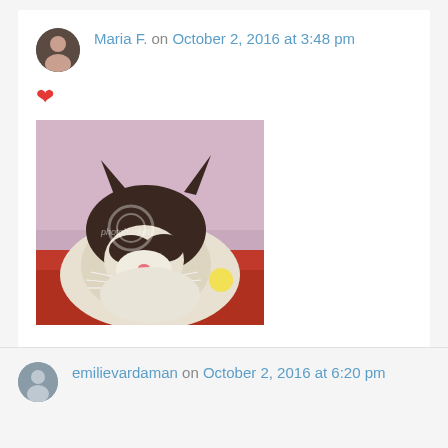Maria F. on October 2, 2016 at 3:48 pm
❤
[Figure (photo): A Siamese or Ragdoll cat with dark brown and white fur resting its head on a red surface, with a Photobucket watermark overlay. The background is pinkish-purple.]
emilievardaman on October 2, 2016 at 6:20 pm